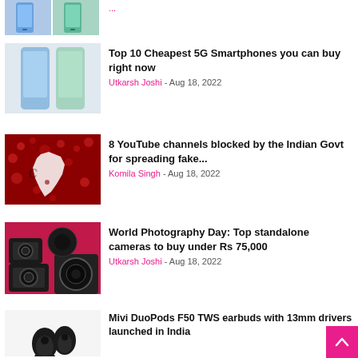[Figure (photo): Two smartphones side by side (partial top of page)]
...
Top 10 Cheapest 5G Smartphones you can buy right now
Utkarsh Joshi - Aug 18, 2022
[Figure (photo): Red surface with water droplets and white map of India cutout]
8 YouTube channels blocked by the Indian Govt for spreading fake...
Komila Singh - Aug 18, 2022
[Figure (photo): Multiple black cameras and lenses on a pink/red surface]
World Photography Day: Top standalone cameras to buy under Rs 75,000
Utkarsh Joshi - Aug 18, 2022
[Figure (photo): Black TWS earbuds (Mivi DuoPods F50)]
Mivi DuoPods F50 TWS earbuds with 13mm drivers launched in India